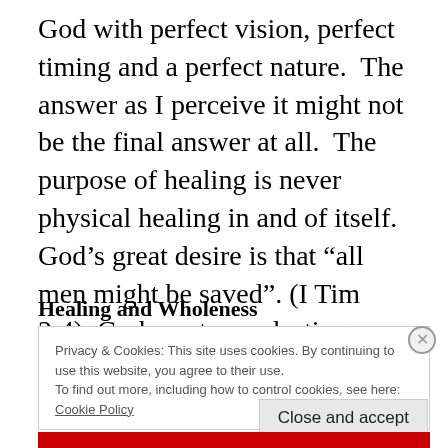God with perfect vision, perfect timing and a perfect nature.  The answer as I perceive it might not be the final answer at all.  The purpose of healing is never physical healing in and of itself. God's great desire is that "all men might be saved". (I Tim 2:4)  God wants everlasting 'sozo' for everyone He created.
Healing and Wholeness
Privacy & Cookies: This site uses cookies. By continuing to use this website, you agree to their use.
To find out more, including how to control cookies, see here: Cookie Policy
Close and accept